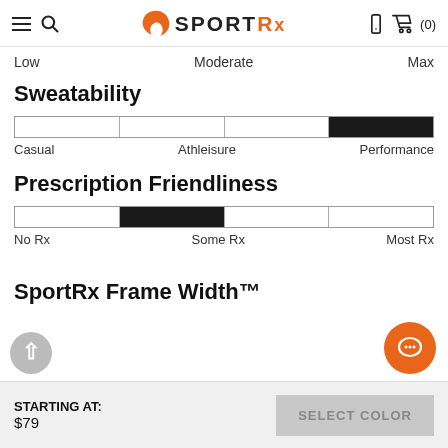SportRx — hamburger menu, search, phone, cart (0)
Low   Moderate   Max
Sweatability
[Figure (infographic): Sweatability progress bar showing filled segment in the Performance range (right side), with labels: Casual, Athleisure, Performance]
Casual   Athleisure   Performance
Prescription Friendliness
[Figure (infographic): Prescription Friendliness progress bar showing filled segment in the middle (Some Rx range), with labels: No Rx, Some Rx, Most Rx]
No Rx   Some Rx   Most Rx
SportRx Frame Width™
STARTING AT:
$79
SELECT COLOR